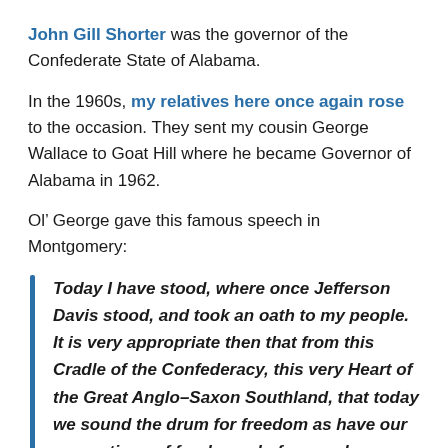John Gill Shorter was the governor of the Confederate State of Alabama.
In the 1960s, my relatives here once again rose to the occasion. They sent my cousin George Wallace to Goat Hill where he became Governor of Alabama in 1962.
Ol’ George gave this famous speech in Montgomery:
Today I have stood, where once Jefferson Davis stood, and took an oath to my people. It is very appropriate then that from this Cradle of the Confederacy, this very Heart of the Great Anglo-Saxon Southland, that today we sound the drum for freedom as have our generations of forebears before us done, time and time again through history. Let us rise to the call of freedom-loving blood that is in us and send our answer to the tyranny that clanks its chains upon the South. In the name of the greatest people that have ever trod this earth, I draw